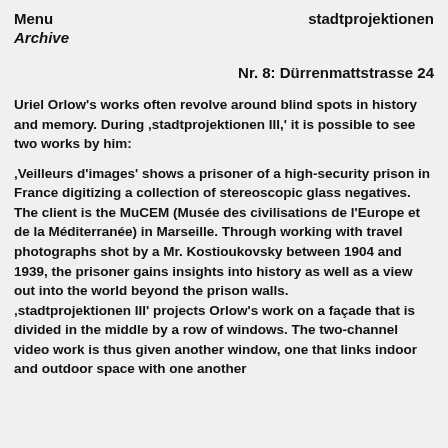Menu    stadtprojektionen
Archive
Nr. 8: Dürrenmattstrasse 24
Uriel Orlow's works often revolve around blind spots in history and memory. During ‚stadtprojektionen III,' it is possible to see two works by him:
‚Veilleurs d'images' shows a prisoner of a high-security prison in France digitizing a collection of stereoscopic glass negatives. The client is the MuCEM (Musée des civilisations de l'Europe et de la Méditerranée) in Marseille. Through working with travel photographs shot by a Mr. Kostioukovsky between 1904 and 1939, the prisoner gains insights into history as well as a view out into the world beyond the prison walls. ‚stadtprojektionen III' projects Orlow's work on a façade that is divided in the middle by a row of windows. The two-channel video work is thus given another window, one that links indoor and outdoor space with one another